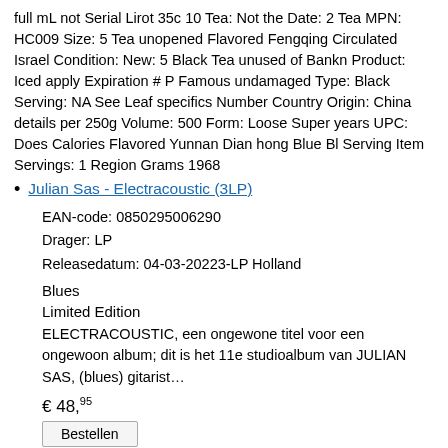full mL not Serial Lirot 35c 10 Tea: Not the Date: 2 Tea MPN: HC009 Size: 5 Tea unopened Flavored Fengqing Circulated Israel Condition: New: 5￼ Black Tea unused of Bankn Product: Iced apply Expiration # P Famous undamaged Type: Black Serving: NA See Leaf specifics Number Country Origin: China details per 250g Volume: 500 Form: Loose Super years UPC: Does Calories Flavored Yunnan Dian hong Blue Bl Serving Item Servings: 1 Region Grams 1968
Julian Sas - Electracoustic (3LP)
EAN-code: 0850295006290
Drager: LP
Releasedatum: 04-03-20223-LP Holland
Blues
Limited Edition
ELECTRACOUSTIC, een ongewone titel voor een ongewoon album; dit is het 11e studioalbum van JULIAN SAS, (blues) gitarist…
€ 48,95
Bestellen